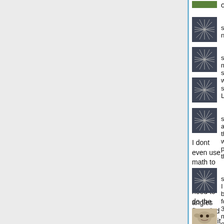[Figure (screenshot): Chat/forum thread showing conversation between users 'struct' and 'mlomb'. Left side is gray background, right side is white with blue vertical divider. Each message has a small avatar image followed by text.]
opponents
struct: no
struct: my strategy was 2
struct: LOL
struct: and the worst part is that
I dont even use math to check where I need to do the first wind to bring it closer
struct: I just brute force 360
angles
mlomb: euler you wont like mine
then f